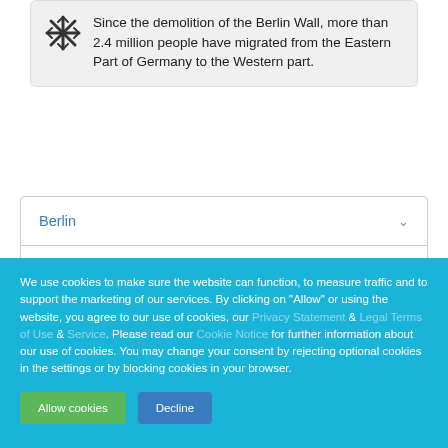Since the demolition of the Berlin Wall, more than 2.4 million people have migrated from the Eastern Part of Germany to the Western part.
Berlin
About Berlin
We use cookies to make sure the website can function, to measure traffic and to support the marketing of our services. By clicking on "Allow" or using the website, you agree to our use of cookies, our Privacy Statement & Legal Terms of Use & Service. Please read our Cookie Notice for further information about our use of cookies. You may change your consent by rejecting optional cookies in the settings or by blocking cookies in your browser.